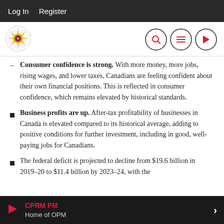Log In   Register
Consumer confidence is strong. With more money, more jobs, rising wages, and lower taxes, Canadians are feeling confident about their own financial positions. This is reflected in consumer confidence, which remains elevated by historical standards.
Business profits are up. After-tax profitability of businesses in Canada is elevated compared to its historical average, adding to positive conditions for further investment, including in good, well-paying jobs for Canadians.
The federal deficit is projected to decline from $19.6 billion in 2019–20 to $11.4 billion by 2023–24, with the
CPRM FM  Home of OPM